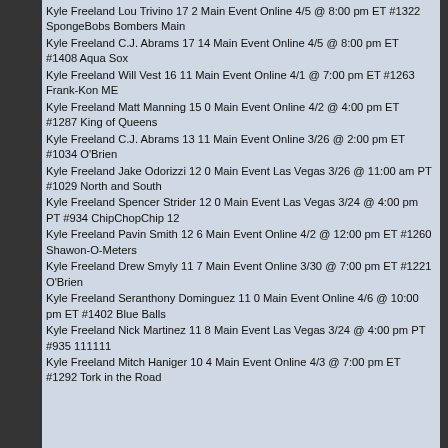Kyle Freeland Lou Trivino 17 2 Main Event Online 4/5 @ 8:00 pm ET #1322 SpongeBobs Bombers Main
Kyle Freeland C.J. Abrams 17 14 Main Event Online 4/5 @ 8:00 pm ET #1408 Aqua Sox
Kyle Freeland Will Vest 16 11 Main Event Online 4/1 @ 7:00 pm ET #1263 Frank-Kon ME
Kyle Freeland Matt Manning 15 0 Main Event Online 4/2 @ 4:00 pm ET #1287 King of Queens
Kyle Freeland C.J. Abrams 13 11 Main Event Online 3/26 @ 2:00 pm ET #1034 O'Brien
Kyle Freeland Jake Odorizzi 12 0 Main Event Las Vegas 3/26 @ 11:00 am PT #1029 North and South
Kyle Freeland Spencer Strider 12 0 Main Event Las Vegas 3/24 @ 4:00 pm PT #934 ChipChopChip 12
Kyle Freeland Pavin Smith 12 6 Main Event Online 4/2 @ 12:00 pm ET #1260 Shawon-O-Meters
Kyle Freeland Drew Smyly 11 7 Main Event Online 3/30 @ 7:00 pm ET #1221 O'Brien
Kyle Freeland Seranthony Dominguez 11 0 Main Event Online 4/6 @ 10:00 pm ET #1402 Blue Balls
Kyle Freeland Nick Martinez 11 8 Main Event Las Vegas 3/24 @ 4:00 pm PT #935 111111
Kyle Freeland Mitch Haniger 10 4 Main Event Online 4/3 @ 7:00 pm ET #1292 Tork in the Road